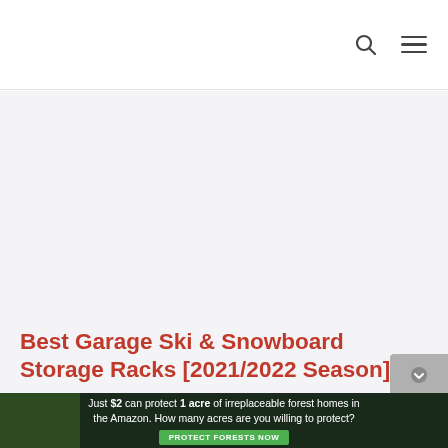[search icon] [menu icon]
[Figure (other): Large light gray placeholder image area filling most of the content region]
Best Garage Ski & Snowboard Storage Racks [2021/2022 Season]
[Figure (other): Advertisement banner: dark forest background with text 'Just $2 can protect 1 acre of irreplaceable forest homes in the Amazon. How many acres are you willing to protect?' and a green 'PROTECT FORESTS NOW' button]